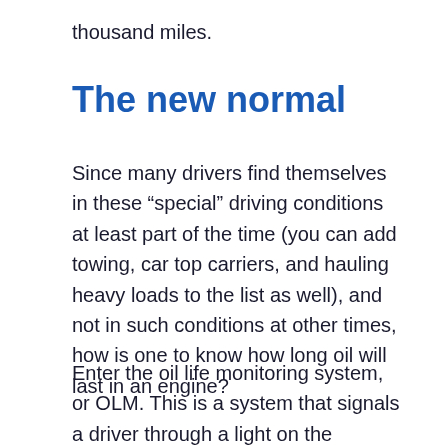thousand miles.
The new normal
Since many drivers find themselves in these “special” driving conditions at least part of the time (you can add towing, car top carriers, and hauling heavy loads to the list as well), and not in such conditions at other times, how is one to know how long oil will last in an engine?
Enter the oil life monitoring system, or OLM. This is a system that signals a driver through a light on the dashboard or a